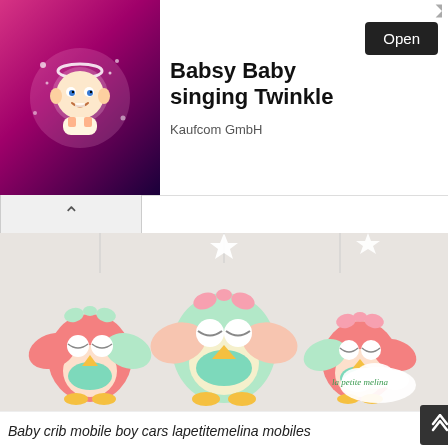[Figure (infographic): Advertisement banner: cartoon baby image on pink/purple background on the left, text 'Babsy Baby singing Twinkle' in bold, 'Kaufcom GmbH' below, and an 'Open' button on the right. Small arrow icon top-right corner.]
[Figure (photo): Photo of handmade felt owl plush toys (baby crib mobile) in mint green and coral/pink colors with yellow feet, hanging from white star shapes. A cloud-shaped logo reads 'la petite melina' in the bottom right.]
Baby crib mobile boy cars lapetitemelina mobiles